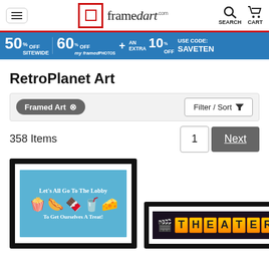framedart.com navigation header with hamburger menu, logo, search and cart icons
50% OFF SITEWIDE   60% OFF myframedphotos + AN EXTRA   10% OFF   USE CODE: SAVETEN
RetroPlanet Art
Framed Art ⊗
Filter / Sort
358 Items
1   Next
[Figure (photo): Framed art print: Let's All Go To The Lobby cartoon food characters on blue background]
[Figure (photo): Framed art print: THEATER marquee sign with orange letters on dark background with film reels]